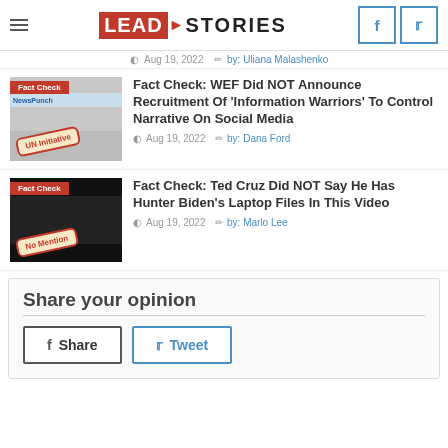Lead Stories
Aug 19, 2022  by: Uliana Malashenko
[Figure (screenshot): Fact Check article thumbnail with 'UN Initiative' stamp over a NewsPunch screenshot]
Fact Check: WEF Did NOT Announce Recruitment Of 'Information Warriors' To Control Narrative On Social Media
Aug 19, 2022  by: Dana Ford
[Figure (screenshot): Fact Check article thumbnail with 'No Mention' stamp over a dark video screenshot]
Fact Check: Ted Cruz Did NOT Say He Has Hunter Biden's Laptop Files In This Video
Aug 19, 2022  by: Marlo Lee
Share your opinion
Share  Tweet